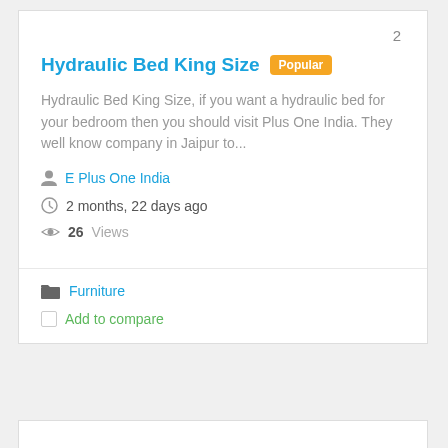2
Hydraulic Bed King Size  Popular
Hydraulic Bed King Size, if you want a hydraulic bed for your bedroom then you should visit Plus One India. They well know company in Jaipur to...
E Plus One India
2 months, 22 days ago
26 Views
Furniture
Add to compare